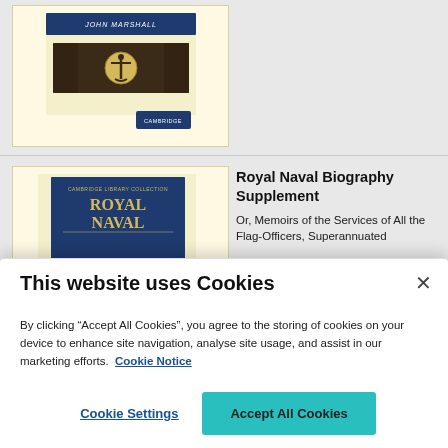[Figure (illustration): Book cover thumbnail for a Cambridge Library Collection book by John Marshall, showing decorative anchor motif and 'Cambridge' publisher label on yellow background]
[Figure (illustration): Book cover thumbnail for 'Royal Naval Biography Supplement' Cambridge Library Collection, dark blue cover with gold lettering, on yellow background]
Royal Naval Biography Supplement
Or, Memoirs of the Services of All the Flag-Officers, Superannuated
This website uses Cookies
By clicking “Accept All Cookies”, you agree to the storing of cookies on your device to enhance site navigation, analyse site usage, and assist in our marketing efforts.  Cookie Notice
Cookie Settings
Accept All Cookies